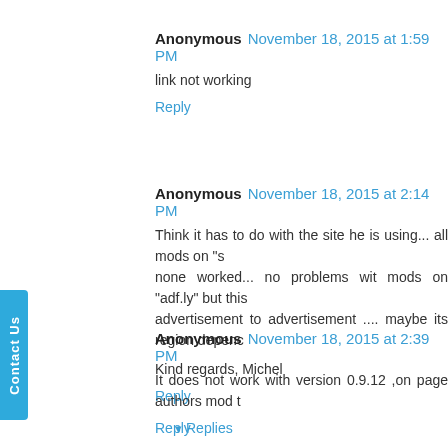Anonymous  November 18, 2015 at 1:59 PM
link not working
Reply
Anonymous  November 18, 2015 at 2:14 PM
Think it has to do with the site he is using... all mods on "s... none worked... no problems wit mods on "adf.ly" but this advertisement to advertisement .... maybe its region depenc...
Kind regards, Michel
Reply
Anonymous  November 18, 2015 at 2:39 PM
It does not work with version 0.9.12 ,on page authors mod t...
Reply
Replies